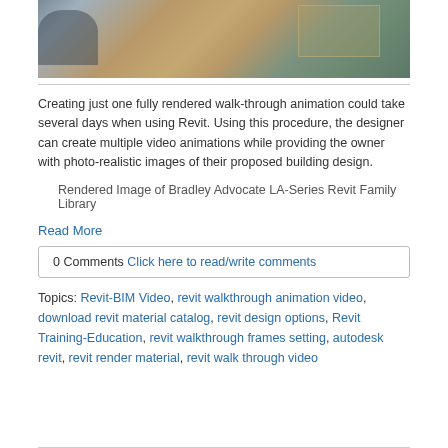[Figure (screenshot): Rendered 3D interior scene showing bathroom fixtures and furniture including a toilet area and desk/table, in a rendered style with brown floor and teal/green walls]
Creating just one fully rendered walk-through animation could take several days when using Revit. Using this procedure, the designer can create multiple video animations while providing the owner with photo-realistic images of their proposed building design.
Rendered Image of Bradley Advocate LA-Series Revit Family Library
Read More
0 Comments Click here to read/write comments
Topics: Revit-BIM Video, revit walkthrough animation video, download revit material catalog, revit design options, Revit Training-Education, revit walkthrough frames setting, autodesk revit, revit render material, revit walk through video